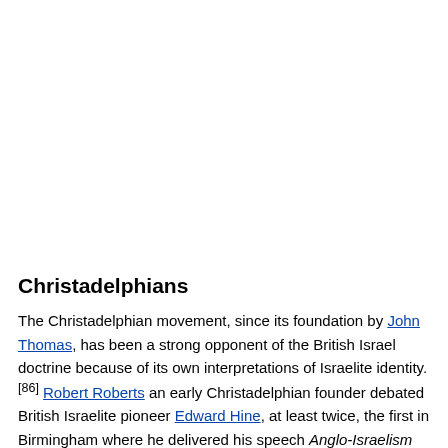Christadelphians
The Christadelphian movement, since its foundation by John Thomas, has been a strong opponent of the British Israel doctrine because of its own interpretations of Israelite identity.[86] Robert Roberts an early Christadelphian founder debated British Israelite pioneer Edward Hine, at least twice, the first in Birmingham where he delivered his speech Anglo-Israelism Refuted followed by a